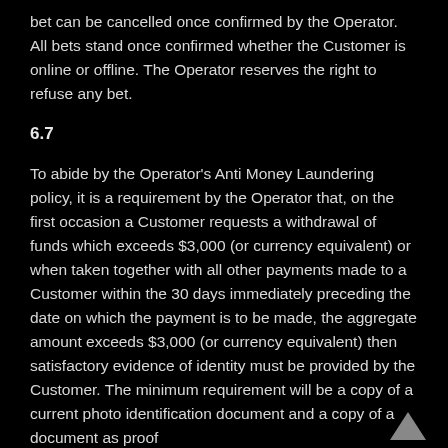bet can be cancelled once confirmed by the Operator. All bets stand once confirmed whether the Customer is online or offline. The Operator reserves the right to refuse any bet.
6.7
To abide by the Operator's Anti Money Laundering policy, it is a requirement by the Operator that, on the first occasion a Customer requests a withdrawal of funds which exceeds $3,000 (or currency equivalent) or when taken together with all other payments made to a Customer within the 30 days immediately preceding the date on which the payment is to be made, the aggregate amount exceeds $3,000 (or currency equivalent) then satisfactory evidence of identity must be provided by the Customer. The minimum requirement will be a copy of a current photo identification document and a copy of a document as proof of residential address (e.g. a bank or credit card statement dated within the last